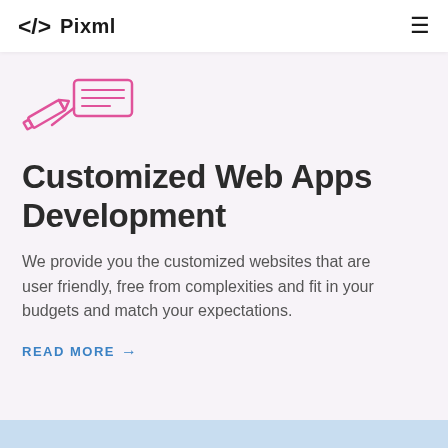</> Pixml
[Figure (illustration): Pink icon showing a tag/pen and lines representing web/code design]
Customized Web Apps Development
We provide you the customized websites that are user friendly, free from complexities and fit in your budgets and match your expectations.
READ MORE →